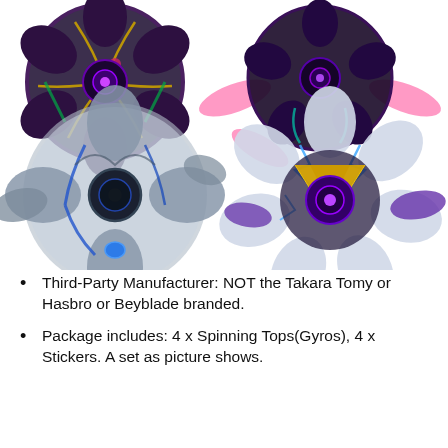[Figure (photo): Four Beyblade spinning tops arranged in a 2x2 grid on white background. Top-left: dark purple and gold spinning top. Top-right: dark purple spinning top with pink wing accessories. Bottom-left: silver and blue large spinning top. Bottom-right: white, gold, and purple spinning top.]
Third-Party Manufacturer: NOT the Takara Tomy or Hasbro or Beyblade branded.
Package includes: 4 x Spinning Tops(Gyros), 4 x Stickers. A set as picture shows.